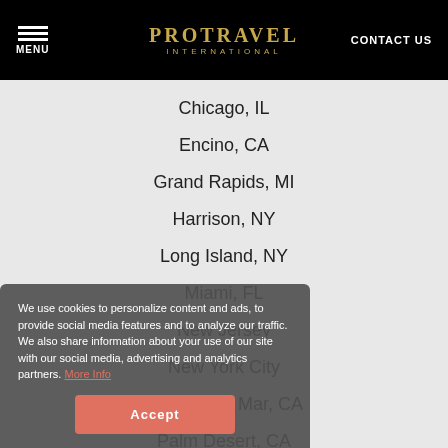PROTRAVEL INTERNATIONAL | MENU | CONTACT US
Chicago, IL
Encino, CA
Grand Rapids, MI
Harrison, NY
Long Island, NY
Miami, FL
New Jersey
New York City
Corona del Mar, CA
Palm Desert, CA
We use cookies to personalize content and ads, to provide social media features and to analyze our traffic. We also share information about your use of our site with our social media, advertising and analytics partners. More Info
Accept